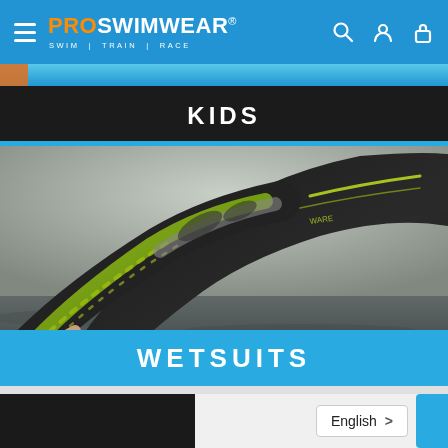PROSWIMWEAR® SWIM TRAIN RACE
KIDS
[Figure (photo): Swimmer in a black and neon green wetsuit reaching into water, open water swimming action shot with dramatic sky background]
WETSUITS
English >